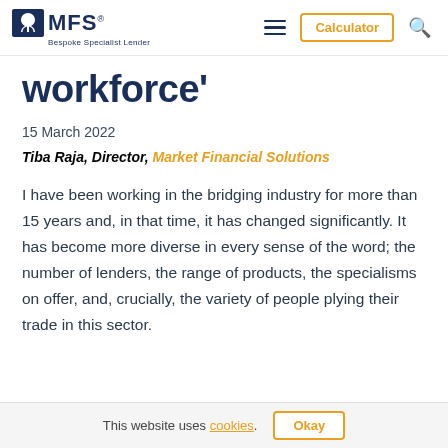[Figure (logo): MFS (Market Financial Solutions) logo with leaf icon and tagline 'Bespoke Specialist Lender']
workforce'
15 March 2022
Tiba Raja, Director, Market Financial Solutions
I have been working in the bridging industry for more than 15 years and, in that time, it has changed significantly. It has become more diverse in every sense of the word; the number of lenders, the range of products, the specialisms on offer, and, crucially, the variety of people plying their trade in this sector.